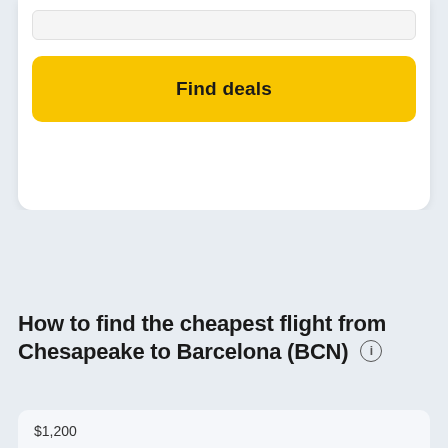[Figure (screenshot): Yellow 'Find deals' button on a white card UI panel with a light input bar above it]
How to find the cheapest flight from Chesapeake to Barcelona (BCN)
$1,200